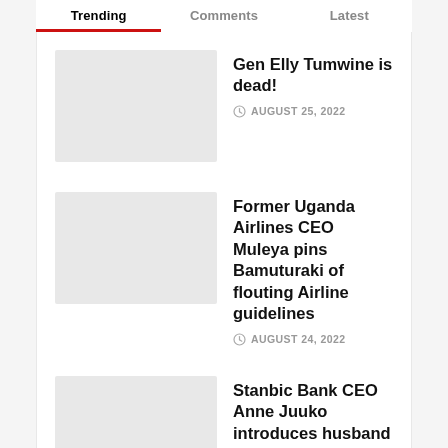Trending | Comments | Latest
Gen Elly Tumwine is dead!
AUGUST 25, 2022
Former Uganda Airlines CEO Muleya pins Bamuturaki of flouting Airline guidelines
AUGUST 24, 2022
Stanbic Bank CEO Anne Juuko introduces husband
AUGUST 21, 2022